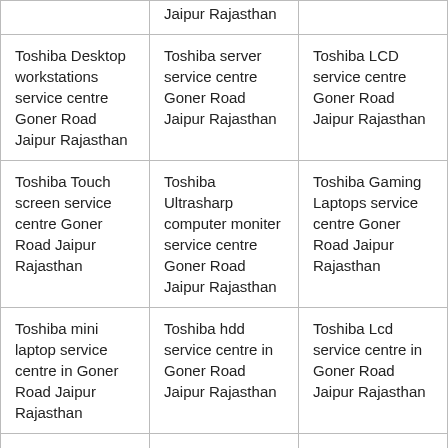|  | Jaipur Rajasthan |  |
| Toshiba Desktop workstations service centre Goner Road Jaipur Rajasthan | Toshiba server service centre Goner Road Jaipur Rajasthan | Toshiba LCD service centre Goner Road Jaipur Rajasthan |
| Toshiba Touch screen service centre Goner Road Jaipur Rajasthan | Toshiba Ultrasharp computer moniter service centre Goner Road Jaipur Rajasthan | Toshiba Gaming Laptops service centre Goner Road Jaipur Rajasthan |
| Toshiba mini laptop service centre in Goner Road Jaipur Rajasthan | Toshiba hdd service centre in Goner Road Jaipur Rajasthan | Toshiba Lcd service centre in Goner Road Jaipur Rajasthan |
| Toshiba service center in Goner | Toshiba laptop service centre in | Toshiba hard disk service centre Goner |